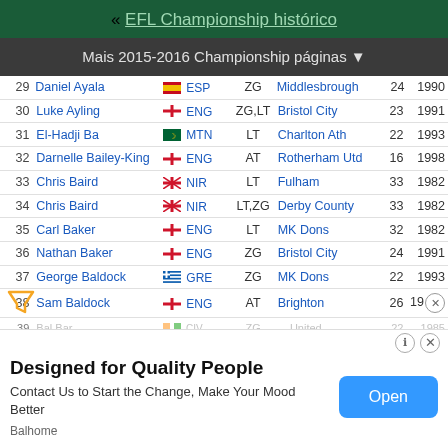« EFL Championship histórico
Mais 2015-2016 Championship páginas ▼
| # | Name | Country | Pos | Club | Age | Year |
| --- | --- | --- | --- | --- | --- | --- |
| 29 | Daniel Ayala | ESP | ZG | Middlesbrough | 24 | 1990 |
| 30 | Luke Ayling | ENG | ZG,LT | Bristol City | 23 | 1991 |
| 31 | El-Hadji Ba | MTN | LT | Charlton Ath | 22 | 1993 |
| 32 | Darnelle Bailey-King | ENG | AT | Rotherham Utd | 16 | 1998 |
| 33 | Chris Baird | NIR | LT | Fulham | 33 | 1982 |
| 34 | Chris Baird | NIR | LT,ZG | Derby County | 33 | 1982 |
| 35 | Carl Baker | ENG | LT | MK Dons | 32 | 1982 |
| 36 | Nathan Baker | ENG | ZG | Bristol City | 24 | 1991 |
| 37 | George Baldock | GRE | ZG | MK Dons | 22 | 1993 |
| 38 | Sam Baldock | ENG | AT | Brighton | 26 | 19... |
| 39 | ... | ... | ZG | ... United | ... | 1985 |
| 40 | Sam... |  |  |  |  | 1989 |
| 41 | You... |  |  |  |  | 1993 |
| 42 | Bra... |  |  |  |  | 1996 |
| 43 | Adr... |  |  |  |  |  |
[Figure (screenshot): Advertisement overlay: 'Designed for Quality People' - Balhome ad with Open button]